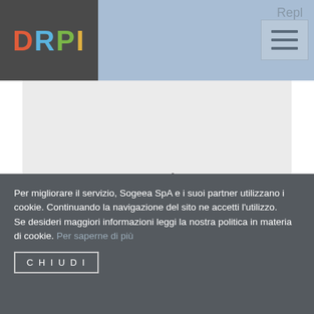DRPI
Google
Here are some links to web sites that we link to simply because we feel they may be really worth visiting.
Per migliorare il servizio, Sogeea SpA e i suoi partner utilizzano i cookie. Continuando la navigazione del sito ne accetti l'utilizzo.
Se desideri maggiori informazioni leggi la nostra politica in materia di cookie. Per saperne di più
CHIUDI